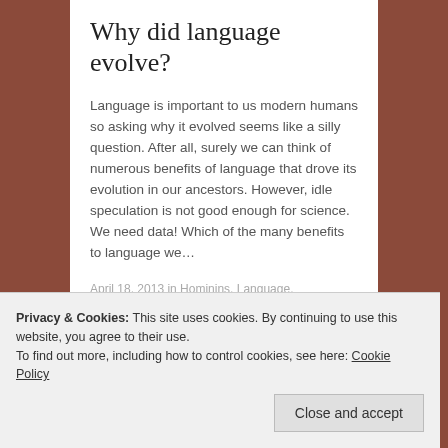Why did language evolve?
Language is important to us modern humans so asking why it evolved seems like a silly question. After all, surely we can think of numerous benefits of language that drove its evolution in our ancestors. However, idle speculation is not good enough for science. We need data! Which of the many benefits to language we…
April 18, 2013 in Hominins, Language, Symbolism.
Privacy & Cookies: This site uses cookies. By continuing to use this website, you agree to their use.
To find out more, including how to control cookies, see here: Cookie Policy
Close and accept